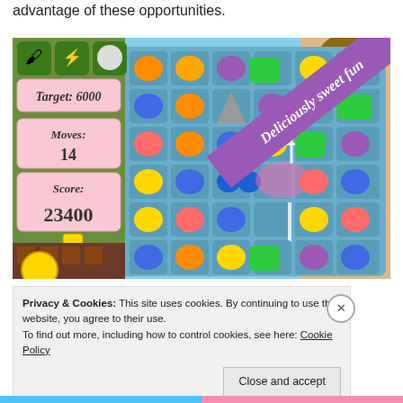advantage of these opportunities.
[Figure (screenshot): Screenshot of Candy Crush Saga mobile game showing a colorful candy grid board with various candy pieces. Left panel shows Target: 6000, Moves: 14, Score: 23400. A purple diagonal banner reads 'Deliciously sweet fun'.]
Privacy & Cookies: This site uses cookies. By continuing to use this website, you agree to their use.
To find out more, including how to control cookies, see here: Cookie Policy
Close and accept